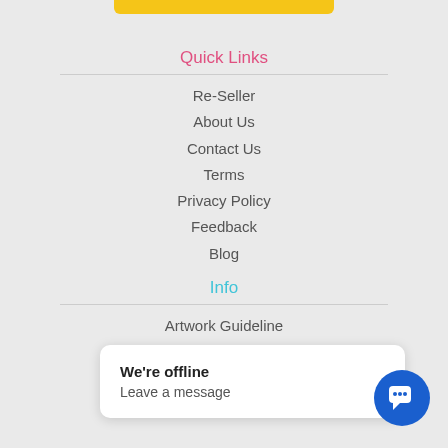[Figure (other): Yellow rounded button/bar at top center]
Quick Links
Re-Seller
About Us
Contact Us
Terms
Privacy Policy
Feedback
Blog
Info
Artwork Guideline
Sitemap
Sample Request
Color Options
We're offline
Leave a message
[Figure (other): Blue circular chat button with chat bubble icon]